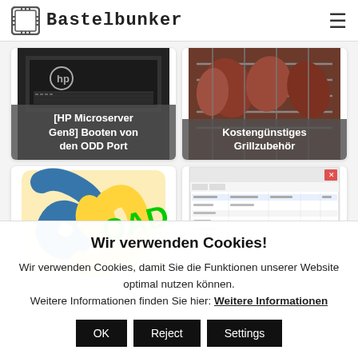Bastelbunker
[Figure (photo): Card showing HP Microserver Gen8 server hardware with label '[HP Microserver Gen8] Booten von den ODD Port']
[Figure (photo): Card showing grilled meat/ribs on a grill rack with label 'Kostengünstiges Grillzubehör']
[Figure (photo): Card showing Python/programming logo with green text 'OAD' partially visible]
[Figure (screenshot): Card showing a software application screenshot with list/table data]
Wir verwenden Cookies!
Wir verwenden Cookies, damit Sie die Funktionen unserer Website optimal nutzen können. Weitere Informationen finden Sie hier: Weitere Informationen
OK  Reject  Settings